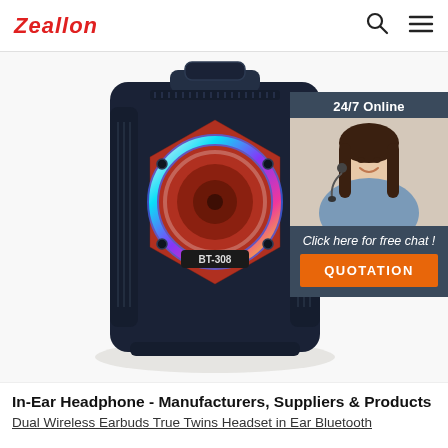Zeallon
[Figure (photo): A black portable Bluetooth speaker (model BT-308) with a red hexagonal speaker grille and colorful LED ring light, on a white background. An overlay widget in the top-right shows '24/7 Online' with a smiling female customer service agent wearing a headset, and a 'Click here for free chat!' prompt with an orange 'QUOTATION' button.]
In-Ear Headphone - Manufacturers, Suppliers & Products
Dual Wireless Earbuds True Twins Headset in Ear Bluetooth